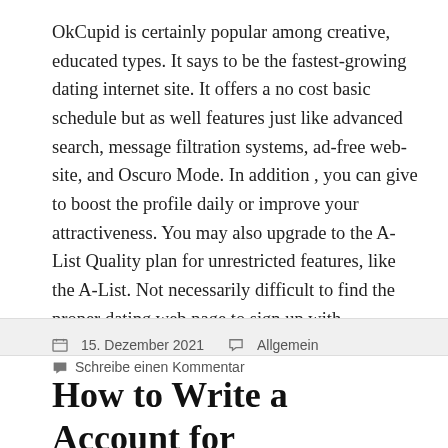OkCupid is certainly popular among creative, educated types. It says to be the fastest-growing dating internet site. It offers a no cost basic schedule but as well features just like advanced search, message filtration systems, ad-free web-site, and Oscuro Mode. In addition , you can give to boost the profile daily or improve your attractiveness. You may also upgrade to the A-List Quality plan for unrestricted features, like the A-List. Not necessarily difficult to find the proper dating web page to sign up with.
15. Dezember 2021  Allgemein  Schreibe einen Kommentar
How to Write a Account for